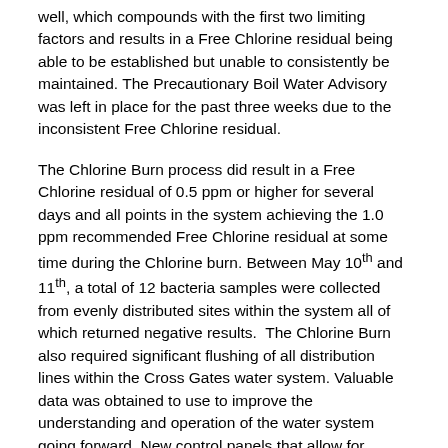well, which compounds with the first two limiting factors and results in a Free Chlorine residual being able to be established but unable to consistently be maintained. The Precautionary Boil Water Advisory was left in place for the past three weeks due to the inconsistent Free Chlorine residual.
The Chlorine Burn process did result in a Free Chlorine residual of 0.5 ppm or higher for several days and all points in the system achieving the 1.0 ppm recommended Free Chlorine residual at some time during the Chlorine burn. Between May 10th and 11th, a total of 12 bacteria samples were collected from evenly distributed sites within the system all of which returned negative results. The Chlorine Burn also required significant flushing of all distribution lines within the Cross Gates water system. Valuable data was obtained to use to improve the understanding and operation of the water system going forward. New control panels that allow for improved well pump control and duplex chemical dosing pump skids will be purchased for the well sites. Additionally, the first project that will be performed as part of the East Slidell Regional Water